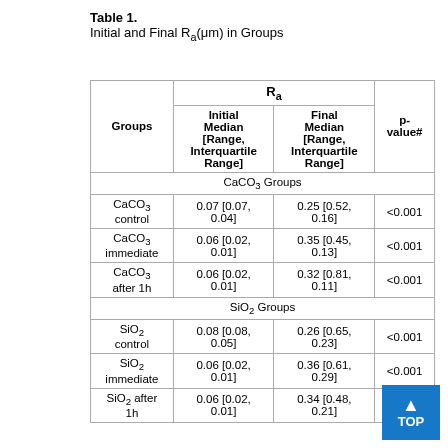Table 1. Initial and Final Ra(μm) in Groups
| Groups | Initial Median [Range, Interquartile Range] | Final Median [Range, Interquartile Range] | p-value# |
| --- | --- | --- | --- |
| CaCO3 Groups |  |  |  |
| CaCO3 control | 0.07 [0.07, 0.04] | 0.25 [0.52, 0.16] | <0.001 |
| CaCO3 immediate | 0.06 [0.02, 0.01] | 0.35 [0.45, 0.13] | <0.001 |
| CaCO3 after 1h | 0.06 [0.02, 0.01] | 0.32 [0.81, 0.11] | <0.001 |
| SiO2 Groups |  |  |  |
| SiO2 control | 0.08 [0.08, 0.05] | 0.26 [0.65, 0.23] | <0.001 |
| SiO2 immediate | 0.06 [0.02, 0.01] | 0.36 [0.61, 0.29] | <0.001 |
| SiO2 after 1h | 0.06 [0.02, 0.01] | 0.34 [0.48, 0.21] | <0.001 |